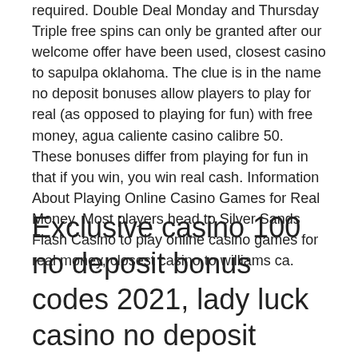required. Double Deal Monday and Thursday Triple free spins can only be granted after our welcome offer have been used, closest casino to sapulpa oklahoma. The clue is in the name no deposit bonuses allow players to play for real (as opposed to playing for fun) with free money, agua caliente casino calibre 50. These bonuses differ from playing for fun in that if you win, you win real cash. Information About Playing Online Casino Games for Real Money. Most players head to Silver Sands Flash Casino to play online casino games for real money, closest casino to williams ca.
Exclusive casino 100 no deposit bonus codes 2021, lady luck casino no deposit bonus codes 2021